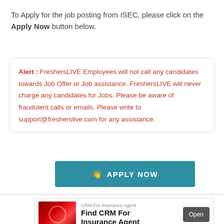To Apply for the job posting from ISEC, please click on the Apply Now button below.
Alert: FreshersLIVE Employees will not call any candidates towards Job Offer or Job assistance. FreshersLIVE will never charge any candidates for Jobs. Please be aware of fraudulent calls or emails. Please write to support@fresherslive.com for any assistance.
[Figure (other): Blue Apply Now button with hand/cursor icon]
[Figure (other): Advertisement banner: CRM For Insurance Agent - Find CRM For Insurance Agent, with Open button and red graphic image]